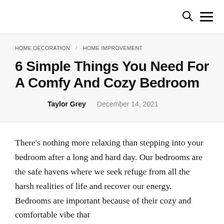🔍 ☰
HOME DECORATION / HOME IMPROVEMENT
6 Simple Things You Need For A Comfy And Cozy Bedroom
Taylor Grey   December 14, 2021
There's nothing more relaxing than stepping into your bedroom after a long and hard day. Our bedrooms are the safe havens where we seek refuge from all the harsh realities of life and recover our energy. Bedrooms are important because of their cozy and comfortable vibe that